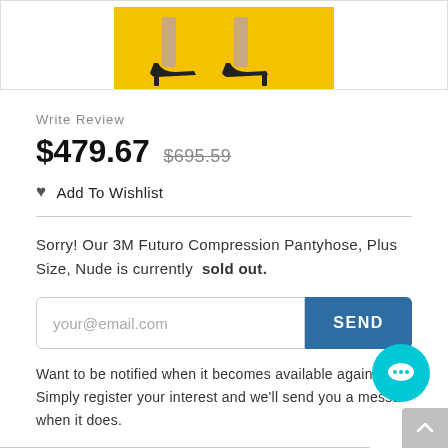[Figure (photo): Product image showing women's legs in black heels against a yellow background]
Write Review
$479.67  $695.59
Add To Wishlist
Sorry! Our 3M Futuro Compression Pantyhose, Plus Size, Nude is currently sold out.
your@email.com
SEND
Want to be notified when it becomes available again? Simply register your interest and we'll send you a message when it does.